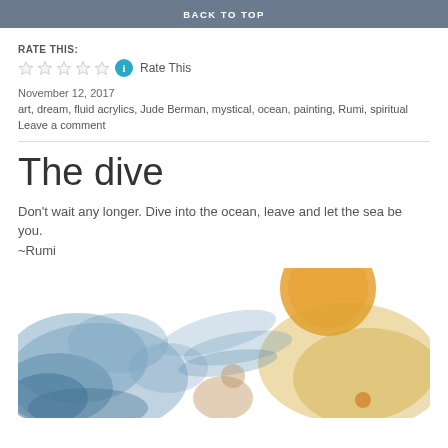BACK TO TOP
RATE THIS:
Rate This
November 12, 2017
art, dream, fluid acrylics, Jude Berman, mystical, ocean, painting, Rumi, spiritual
Leave a comment
The dive
Don't wait any longer. Dive into the ocean, leave and let the sea be you.
~Rumi
[Figure (illustration): Watercolor painting of a figure diving into the ocean, with blue fluid acrylics and an orange/golden circular form suggesting a sun or moon, partially visible at the bottom of the page.]